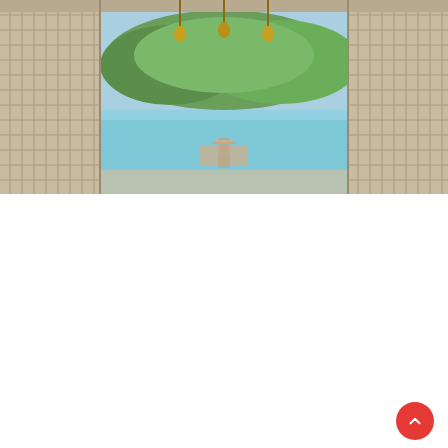[Figure (photo): View through a traditional Japanese wooden shrine gate (torii/shrine corridor) looking out to a harbor/bay with blue-green water, a small torii gate on a dock, trees in the background, and decorative tassels hanging from the ceiling.]
□□□□□□□ □□□□ ※Instagram□□□□□□1000□□□□ □□□□□□□□□□□□ ▲ □□□□ □□□□□□□□□□ □□□□□□□□□□□□□□□□□□□□□□□□□□□□□□□□□□□□□□□□□□□□□□□□□□□□□□□□□□□□□□□□ □□ □□□□□□□□□□□□□□□□□□□□□□□□□□□□□□□□□□□□□□□□□□□□□□□□□□□□□□□□□□□□ □□□□ □□□□□□□□□□□ □□□□□□□□□□□□□□□□□□□□□ ▲□□□□ □□□□□□□□□□□□□□□ □□□□□□□□ □□□□□□□□□□□□□□□□□ ←□ □□□□□□□□□□□□□□□□□□□□□□□□□□□□□□□□ □□□□□ □□□□□□□□□□□□...
# Online GoTo Travel
# Great view
# Shrine
# Kyushu region
# Travel
# Sightseeing
# Coast/Beach/Sea
# Saga Prefecture
# Karatsu